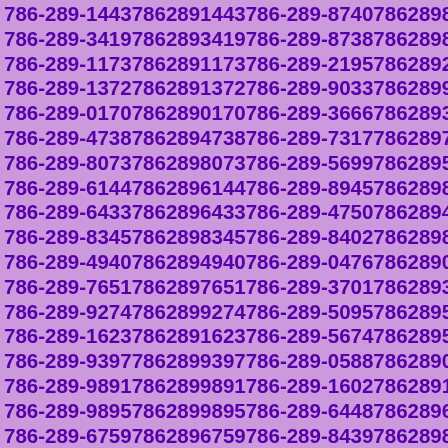786-289-1443 7862891443 786-289-8740 7862898740 786-289-3419 7862893419 786-289-8738 7862898738 786-289-1173 7862891173 786-289-2195 7862892195 786-289-1372 7862891372 786-289-9033 7862899033 786-289-0170 7862890170 786-289-3666 7862893666 786-289-4738 7862894738 786-289-7317 7862897317 786-289-8073 7862898073 786-289-5699 7862895699 786-289-6144 7862896144 786-289-8945 7862898945 786-289-6433 7862896433 786-289-4750 7862894750 786-289-8345 7862898345 786-289-8402 7862898402 786-289-4940 7862894940 786-289-0476 7862890476 786-289-7651 7862897651 786-289-3701 7862893701 786-289-9274 7862899274 786-289-5095 7862895095 786-289-1623 7862891623 786-289-5674 7862895674 786-289-9397 7862899397 786-289-0588 7862890588 786-289-9891 7862899891 786-289-1602 7862891602 786-289-9895 7862899895 786-289-6448 7862896448 786-289-6759 7862896759 786-289-8439 7862898439 786-289-1154 7862891154 786-289-3925 7862893925 786-289-4900 7862894900 786-289-5962 7862895962